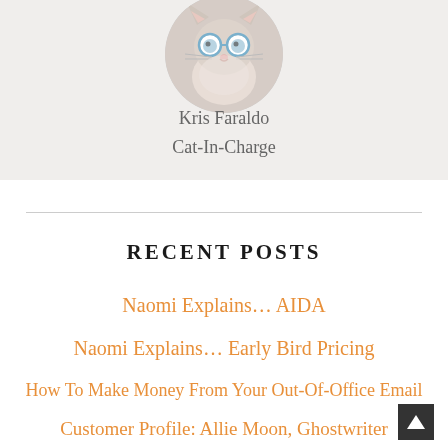[Figure (photo): Circular profile photo of a fluffy cat wearing small blue glasses, on a light gray background]
Kris Faraldo
Cat-In-Charge
RECENT POSTS
Naomi Explains… AIDA
Naomi Explains… Early Bird Pricing
How To Make Money From Your Out-Of-Office Email
Customer Profile: Allie Moon, Ghostwriter